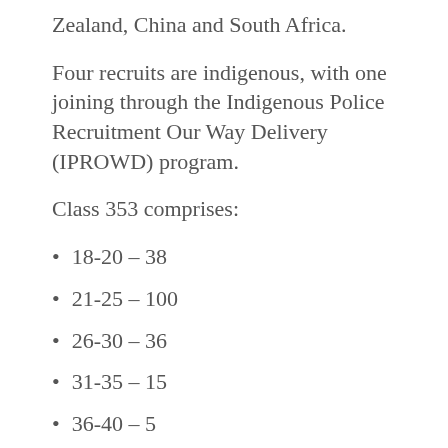Zealand, China and South Africa.
Four recruits are indigenous, with one joining through the Indigenous Police Recruitment Our Way Delivery (IPROWD) program.
Class 353 comprises:
18-20 – 38
21-25 – 100
26-30 – 36
31-35 – 15
36-40 – 5
Over 40 – 6